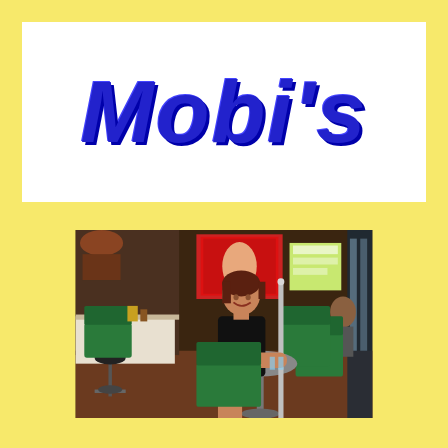Mobi's
[Figure (photo): Interior photo of Mobi's bar/restaurant. A young woman in a black top sits smiling at a round metal table with green vinyl chairs. Background shows a bar counter, TV screen with red display, and various decorations. The seating area has green upholstered booths and stools.]